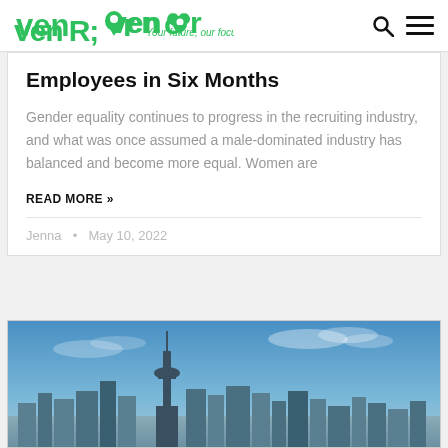venor Your future, our focus.
Employees in Six Months
Gender equality continues to progress in the recruiting industry, and what was once assumed a male-dominated industry has balanced and become more equal. Women are
READ MORE »
Jenna • May 10, 2022
[Figure (photo): Photo of Toronto skyline with CN Tower at twilight, blue sky with clouds]